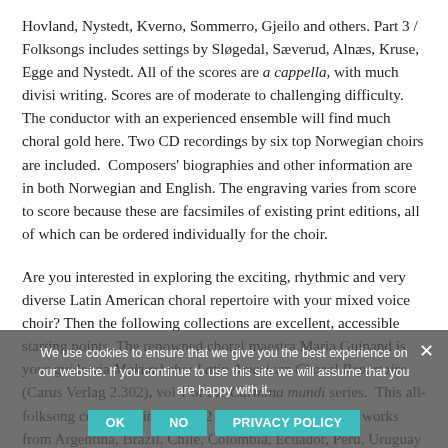Hovland, Nystedt, Kverno, Sommerro, Gjeilo and others. Part 3 / Folksongs includes settings by Sløgedal, Sæverud, Alnæs, Kruse, Egge and Nystedt. All of the scores are a cappella, with much divisi writing. Scores are of moderate to challenging difficulty. The conductor with an experienced ensemble will find much choral gold here. Two CD recordings by six top Norwegian choirs are included. Composers' biographies and other information are in both Norwegian and English. The engraving varies from score to score because these are facsimiles of existing print editions, all of which can be ordered individually for the choir.
Are you interested in exploring the exciting, rhythmic and very diverse Latin American choral repertoire with your mixed voice choir? Then the following collections are excellent, accessible starting points. The renowned choral maestra Maria Guinand is your guide via Makumbebe: Latin American Choral Repertoire (Carus Verlag 2.302), vol 1 of the Carmina mundi series. This all-folksong collection includes 12 mixed voice a cappella works from Argentina, Brazil, Chile, Colombia, Ecuador, Peru, Uruguay...